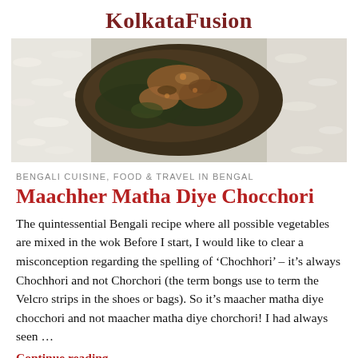KolkataFusion
[Figure (photo): A Bengali dish of mixed vegetables with fish head (chocchori) served on white rice, photographed close-up from above]
BENGALI CUISINE, FOOD & TRAVEL IN BENGAL
Maachher Matha Diye Chocchori
The quintessential Bengali recipe where all possible vegetables are mixed in the wok Before I start, I would like to clear a misconception regarding the spelling of ‘Chochhori’ – it’s always Chochhori and not Chorchori (the term bongs use to term the Velcro strips in the shoes or bags). So it’s maacher matha diye chocchori and not maacher matha diye chorchori! I had always seen …
Continue reading
DECEMBER 2, 2019 / 2 COMMENTS